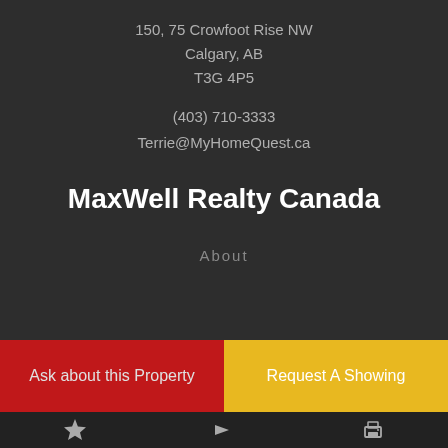150, 75 Crowfoot Rise NW
Calgary, AB
T3G 4P5
(403) 710-3333
Terrie@MyHomeQuest.ca
MaxWell Realty Canada
About
Ask about this Property
Request A Showing
★  ➤  🖨